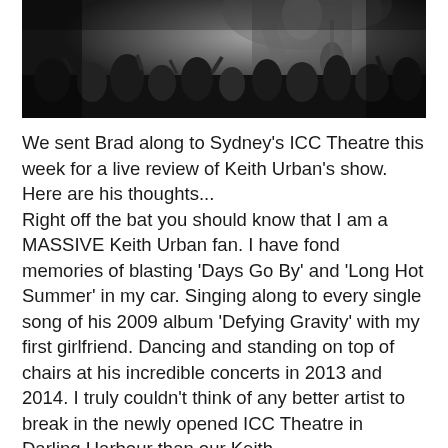[Figure (photo): Black and white concert photo showing a performer on stage with crowd below, taken from below stage level looking up]
We sent Brad along to Sydney's ICC Theatre this week for a live review of Keith Urban's show. Here are his thoughts...
Right off the bat you should know that I am a MASSIVE Keith Urban fan. I have fond memories of blasting 'Days Go By' and 'Long Hot Summer' in my car. Singing along to every single song of his 2009 album 'Defying Gravity' with my first girlfriend. Dancing and standing on top of chairs at his incredible concerts in 2013 and 2014. I truly couldn't think of any better artist to break in the newly opened ICC Theatre in Darling Harbour than our Keith.